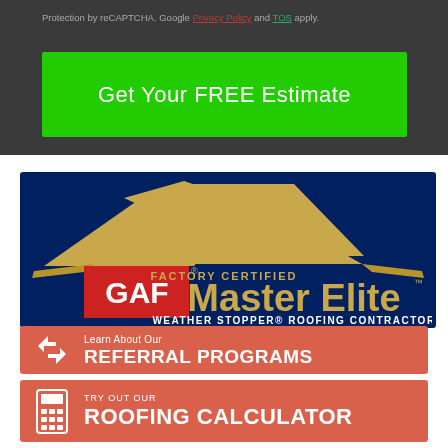Protection by reCAPTCHA. Google Privacy Policy and TOS apply.
Get Your FREE Estimate
[Figure (logo): GAF Factory Certified Master Elite Weather Stopper Roofing Contractor logo on dark navy blue background with gold roof silhouette]
[Figure (infographic): Learn About Our REFERRAL PROGRAMS banner with arrows recycle icon on salmon/red background]
[Figure (infographic): TRY OUT OUR ROOFING CALCULATOR banner with calculator icon on salmon/red background]